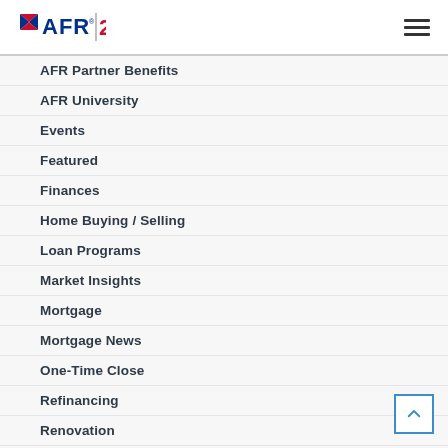AFR 20+ YEARS
AFR Partner Benefits
AFR University
Events
Featured
Finances
Home Buying / Selling
Loan Programs
Market Insights
Mortgage
Mortgage News
One-Time Close
Refinancing
Renovation
Tips
Webinars